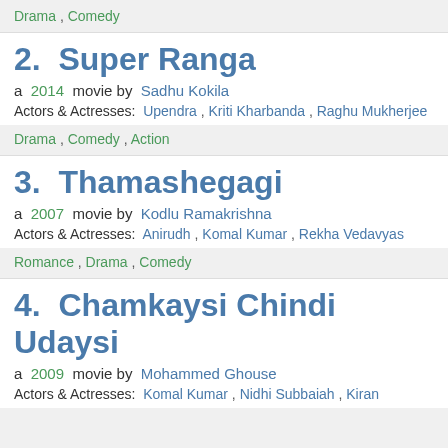Drama , Comedy
2.  Super Ranga
a  2014  movie by  Sadhu Kokila
Actors & Actresses:  Upendra ,  Kriti Kharbanda ,  Raghu Mukherjee
Drama ,  Comedy ,  Action
3.  Thamashegagi
a  2007  movie by  Kodlu Ramakrishna
Actors & Actresses:  Anirudh ,  Komal Kumar ,  Rekha Vedavyas
Romance ,  Drama ,  Comedy
4.  Chamkaysi Chindi Udaysi
a  2009  movie by  Mohammed Ghouse
Actors & Actresses:  Komal Kumar ,  Nidhi Subbaiah ,  Kiran